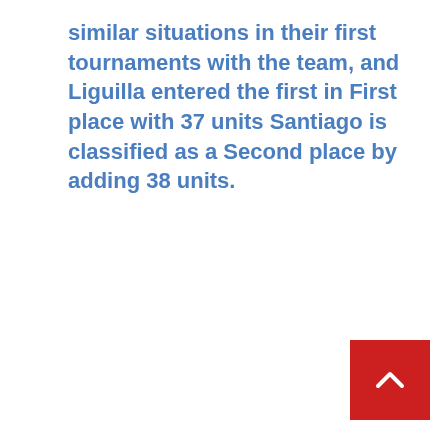similar situations in their first tournaments with the team, and Liguilla entered the first in First place with 37 units Santiago is classified as a Second place by adding 38 units.
[Figure (other): Red square button with a white upward-pointing chevron arrow (back to top button)]